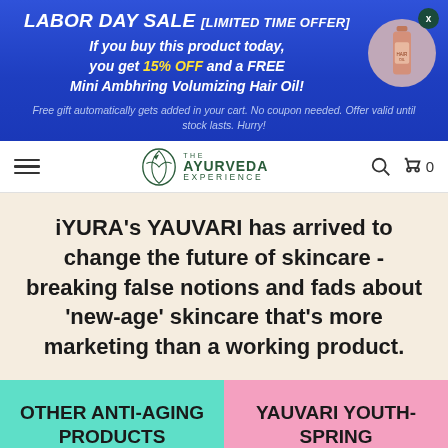[Figure (infographic): Labor Day Sale promotional banner with blue background, product bottle image, and sale details. Text: LABOR DAY SALE [LIMITED TIME OFFER] If you buy this product today, you get 15% OFF and a FREE Mini Ambhring Volumizing Hair Oil! Free gift automatically gets added in your cart. No coupon needed. Offer valid until stock lasts. Hurry!]
[Figure (logo): The Ayurveda Experience logo with leaf/shield icon and navigation bar with hamburger menu, search icon, and cart showing 0 items]
iYURA's YAUVARI has arrived to change the future of skincare - breaking false notions and fads about 'new-age' skincare that's more marketing than a working product.
OTHER ANTI-AGING PRODUCTS
YAUVARI YOUTH-SPRING